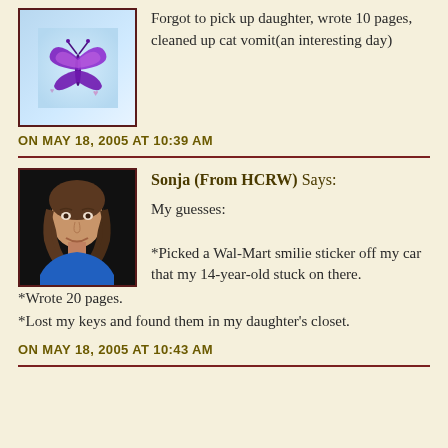[Figure (illustration): Avatar image of a purple butterfly on a blue background with hearts, inside a dark red border frame]
Forgot to pick up daughter, wrote 10 pages,
cleaned up cat vomit(an interesting day)
ON MAY 18, 2005 AT 10:39 AM
[Figure (photo): Photo portrait of a woman with shoulder-length brown hair, smiling, wearing a blue top, on a dark background]
Sonja (From HCRW) Says:
My guesses:

*Picked a Wal-Mart smilie sticker off my car that my 14-year-old stuck on there.
*Wrote 20 pages.
*Lost my keys and found them in my daughter's closet.
ON MAY 18, 2005 AT 10:43 AM